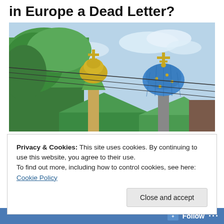in Europe a Dead Letter?
[Figure (photo): Russian Orthodox church with golden and blue onion domes topped with crosses, green roofs, and trees in the background against a blue sky, with power lines crossing the image.]
Privacy & Cookies: This site uses cookies. By continuing to use this website, you agree to their use.
To find out more, including how to control cookies, see here: Cookie Policy
Follow ...